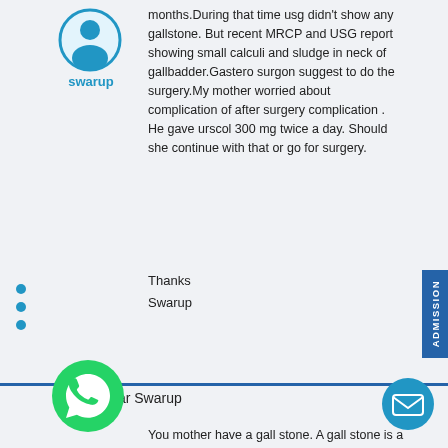[Figure (illustration): Blue circular user avatar icon for user 'swarup']
swarup
months.During that time usg didn't show any gallstone. But recent MRCP and USG report showing small calculi and sludge in neck of gallbadder.Gastero surgon suggest to do the surgery.My mother worried about complication of after surgery complication . He gave urscol 300 mg twice a day. Should she continue with that or go for surgery.
Thanks
Swarup
Dear Swarup
[Figure (illustration): Green circular WhatsApp-style icon for the answering doctor]
You mother have a gall stone. A gall stone is a stone formed within the gallbladder out of bile components. The term cholelithiasis may the presence of stones in the gallbladder diseases caused by gallstones. Most people with gallstones (about 80%) never have symptoms. In
[Figure (illustration): Teal circular email/message button icon]